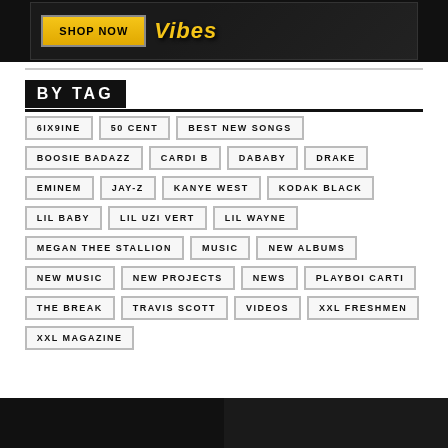[Figure (illustration): Advertisement banner with yellow 'SHOP NOW' button and 'Vibes' text on dark background]
BY TAG
6IX9INE
50 CENT
BEST NEW SONGS
BOOSIE BADAZZ
CARDI B
DABABY
DRAKE
EMINEM
JAY-Z
KANYE WEST
KODAK BLACK
LIL BABY
LIL UZI VERT
LIL WAYNE
MEGAN THEE STALLION
MUSIC
NEW ALBUMS
NEW MUSIC
NEW PROJECTS
NEWS
PLAYBOI CARTI
THE BREAK
TRAVIS SCOTT
VIDEOS
XXL FRESHMEN
XXL MAGAZINE